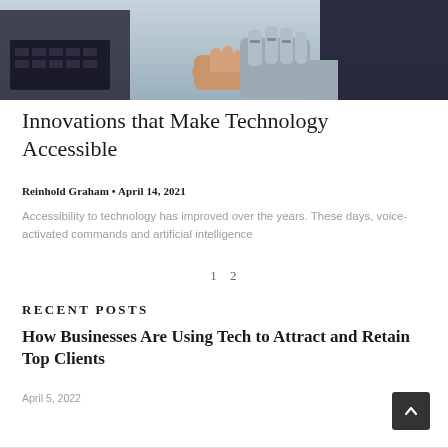[Figure (photo): Hero image showing a robotic hand and a human hand shaking hands over a laptop keyboard, set against a grey background.]
Innovations that Make Technology Accessible
Reinhold Graham • April 14, 2021
Accessibility to technology has improved over the years. These days, voice-activated commands and artificial intelligence
1  2
RECENT POSTS
How Businesses Are Using Tech to Attract and Retain Top Clients
April 5, 2022